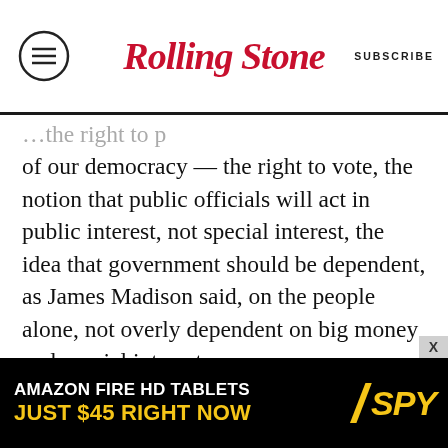RollingStone | SUBSCRIBE
of our democracy — the right to vote, the notion that public officials will act in public interest, not special interest, the idea that government should be dependent, as James Madison said, on the people alone, not overly dependent on big money and special interests.

All of this goes back to first principles in terms of how our democracy functions and how our republic was founded. If people don't have confidence that their vote is what makes the difference about policy in this country and in our democracy, then that cynicism is corrosive to our democracy. This bill is restorative. We're not
[Figure (other): Amazon Fire HD Tablets advertisement banner — 'AMAZON FIRE HD TABLETS JUST $45 RIGHT NOW' with SPY logo]